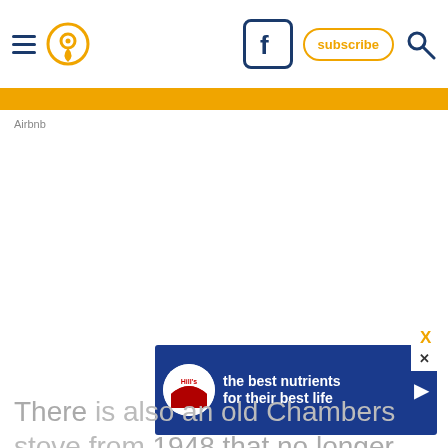Navigation header with hamburger menu, location pin icon, Facebook icon, subscribe button, and search icon
[Figure (other): Orange horizontal navigation bar]
Airbnb
[Figure (other): Advertisement banner for Hill's pet food: 'the best nutrients for their best life' with Hill's logo and play button, blue background, with close X button]
There is also an old Chambers stove from 1948 that no longer works but does add some eclectic charm to the place.